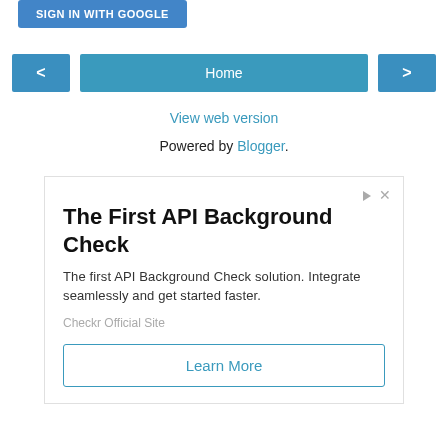[Figure (screenshot): Sign in with Google button (blue background, white text)]
[Figure (screenshot): Navigation row with left arrow button, Home button, and right arrow button]
View web version
Powered by Blogger.
[Figure (screenshot): Advertisement box for Checkr API Background Check with Learn More button]